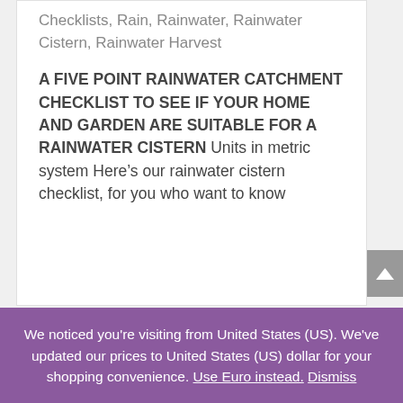Checklists, Rain, Rainwater, Rainwater Cistern, Rainwater Harvest
A FIVE POINT RAINWATER CATCHMENT CHECKLIST TO SEE IF YOUR HOME AND GARDEN ARE SUITABLE FOR A RAINWATER CISTERN Units in metric system Here’s our rainwater cistern checklist, for you who want to know
We noticed you're visiting from United States (US). We've updated our prices to United States (US) dollar for your shopping convenience. Use Euro instead. Dismiss